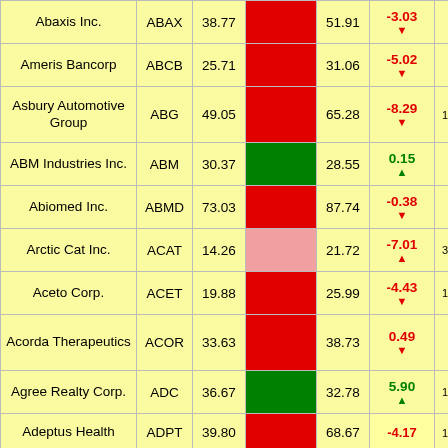| Company | Ticker | Price | Bar | Value | Change | Extra |
| --- | --- | --- | --- | --- | --- | --- |
| Abaxis Inc. | ABAX | 38.77 | [red bar] | 51.91 | -3.03 ▼ |  |
| Ameris Bancorp | ABCB | 25.71 | [red bar] | 31.06 | -5.02 ▼ |  |
| Asbury Automotive Group | ABG | 49.05 | [red bar] | 65.28 | -8.29 ▼ | 1 |
| ABM Industries Inc. | ABM | 30.37 | [green bar] | 28.55 | 0.15 ▲ |  |
| Abiomed Inc. | ABMD | 73.03 | [red bar] | 87.74 | -0.38 ▼ |  |
| Arctic Cat Inc. | ACAT | 14.26 | [pink bar] | 21.72 | -7.01 ▲ | 3 |
| Aceto Corp. | ACET | 19.88 | [red bar] | 25.99 | -4.43 ▼ | 1 |
| Acorda Therapeutics | ACOR | 33.63 | [red bar] | 38.73 | 0.49 ▼ |  |
| Agree Realty Corp. | ADC | 36.67 | [green bar] | 32.78 | 5.90 ▲ | 1 |
| Adeptus Health | ADPT | 39.80 | [red bar] | 68.67 | -4.17 | 1 |